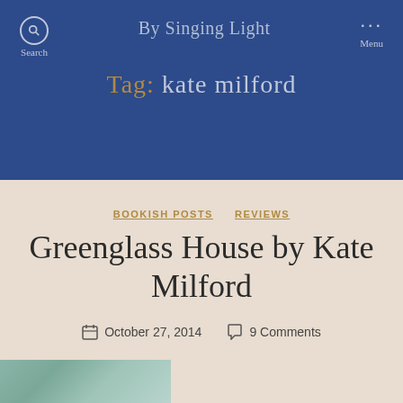By Singing Light
Tag: kate milford
BOOKISH POSTS  REVIEWS
Greenglass House by Kate Milford
October 27, 2014  9 Comments
Greenglass House is